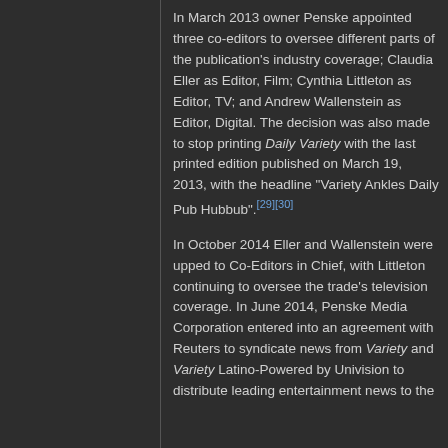In March 2013 owner Penske appointed three co-editors to oversee different parts of the publication's industry coverage; Claudia Eller as Editor, Film; Cynthia Littleton as Editor, TV; and Andrew Wallenstein as Editor, Digital. The decision was also made to stop printing Daily Variety with the last printed edition published on March 19, 2013, with the headline "Variety Ankles Daily Pub Hubbub".[29][30]
In October 2014 Eller and Wallenstein were upped to Co-Editors in Chief, with Littleton continuing to oversee the trade's television coverage. In June 2014, Penske Media Corporation entered into an agreement with Reuters to syndicate news from Variety and Variety Latino-Powered by Univision to distribute leading entertainment news to the